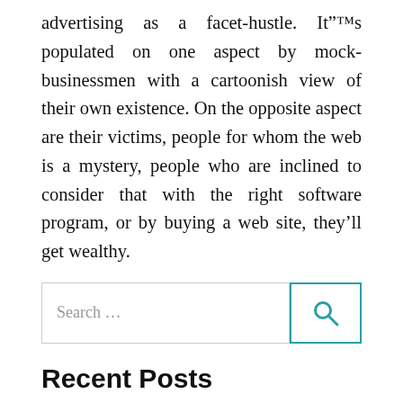advertising as a facet-hustle. It”™s populated on one aspect by mock-businessmen with a cartoonish view of their own existence. On the opposite aspect are their victims, people for whom the web is a mystery, people who are inclined to consider that with the right software program, or by buying a web site, they’ll get wealthy.
[Figure (other): Search bar with text 'Search ...' and a teal search button with magnifying glass icon]
Recent Posts
Small Business Internet Packages
Small Business Internet Packages
The 10 Best Online Courses on Digital Marketing